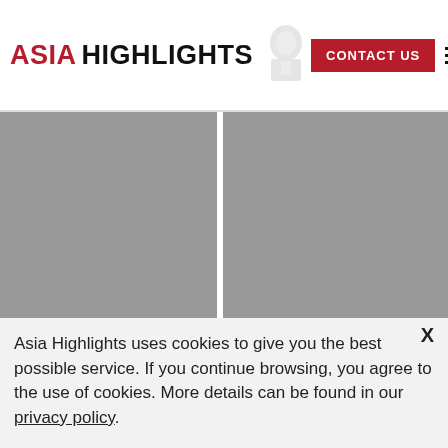ASIA HIGHLIGHTS  CONTACT US
[Figure (photo): Left image card placeholder (gray), partially showing title 'How to Plan a Trip to...']
[Figure (photo): Right image card placeholder (gray), partially showing title 'Best time to visit M...']
Asia Highlights uses cookies to give you the best possible service. If you continue browsing, you agree to the use of cookies. More details can be found in our privacy policy.